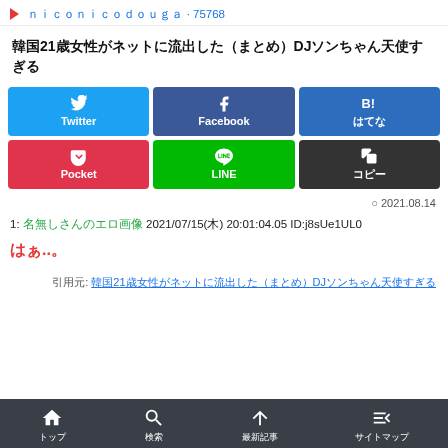▶ ｎｉｃｏｎｉｃｏｄｏｕｇａ · 75768
韓国21歳女性がネットに流出した（まとめ）DJソンちゃん天使すぎる
[Figure (infographic): Social share buttons: Twitter (blue), Facebook (dark blue), B! Hatena (blue), Pocket (red), LINE (green), コピー (dark/black)]
2021.08.14
1: 名無しさんのエロ画像 2021/07/15(木) 20:01:04.05 ID:j8sUe1UL0
はぁ..。
引用元: 韓国21歳女性がネットに流出した（まとめ）DJソンちゃん天使すぎる
トップ  検索  最新記事  サイトマップ